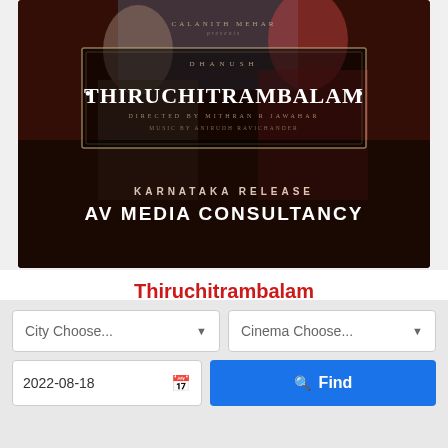[Figure (photo): Movie poster for Thiruchitrambalam showing characters in background with text 'Karnataka Release AV Media Consultancy']
Thiruchitrambalam
Dhanush's upcoming romantic comedy film was
City Choose...
Cinema Choose...
2022-08-18
Find